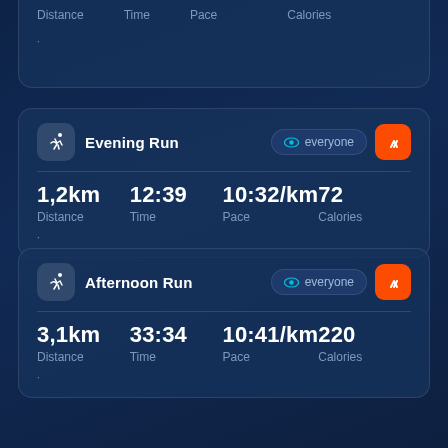[Figure (screenshot): Partial top card showing Distance, Time, Pace, Calories column headers from a previous activity entry, partially visible at top of screen.]
| Activity | Distance | Time | Pace | Calories |
| --- | --- | --- | --- | --- |
| Evening Run | 1,2km | 12:39 | 10:32/km | 72 |
| Afternoon Run | 3,1km | 33:34 | 10:41/km | 220 |